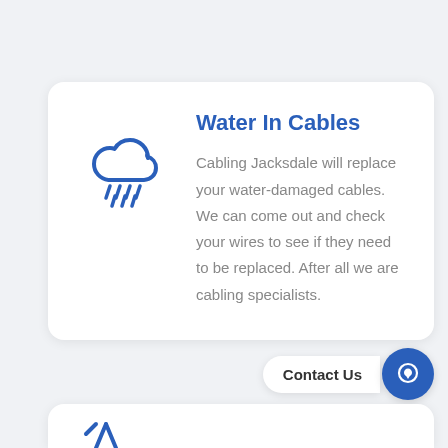[Figure (illustration): Blue rain cloud icon with raindrops falling below it]
Water In Cables
Cabling Jacksdale will replace your water-damaged cables. We can come out and check your wires to see if they need to be replaced. After all we are cabling specialists.
Contact Us